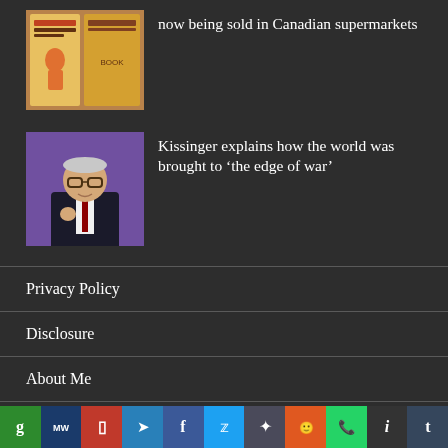now being sold in Canadian supermarkets
[Figure (photo): Book cover thumbnail]
[Figure (photo): Henry Kissinger speaking at an event, purple background]
Kissinger explains how the world was brought to ‘the edge of war’
Privacy Policy
Disclosure
About Me
Contact
Social sharing bar: g, MW, P, Telegram, f, Twitter, *, Reddit, WhatsApp, i, t